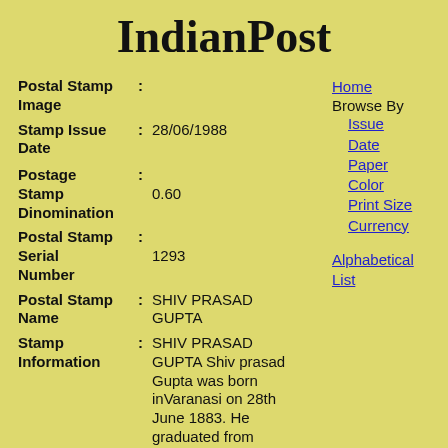IndianPost
| Field | Value |
| --- | --- |
| Postal Stamp Image |  |
| Stamp Issue Date | 28/06/1988 |
| Postage Stamp Dinomination | 0.60 |
| Postal Stamp Serial Number | 1293 |
| Postal Stamp Name | SHIV PRASAD GUPTA |
| Stamp Information | SHIV PRASAD GUPTA Shiv prasad Gupta was born inVaranasi on 28th June 1883. He graduated from Allahabad University |
Home
Browse By
Issue Date
Paper
Color
Print Size
Currency
Alphabetical List